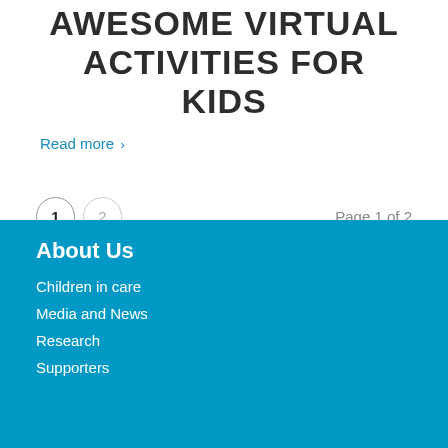AWESOME VIRTUAL ACTIVITIES FOR KIDS
Read more >
Page 1 of 2
About Us
Children in care
Media and News
Research
Supporters